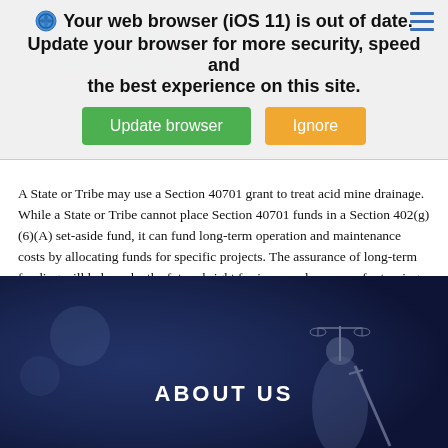[Figure (screenshot): Browser update notification banner with green 'Update browser' and orange 'Ignore' buttons, overlaid on a webpage with a faded watermark logo]
A State or Tribe may use a Section 40701 grant to treat acid mine drainage. While a State or Tribe cannot place Section 40701 funds in a Section 402(g)(6)(A) set-aside fund, it can fund long-term operation and maintenance costs by allocating funds for specific projects. The assurance of long-term funding will help make the future bright for increased success of returning streams polluted by acid mine drainage to healthy, fully functioning streams.
[Figure (photo): Dark blue-toned image of Lady Justice statue holding scales and sword, with text 'ABOUT US' centered in white]